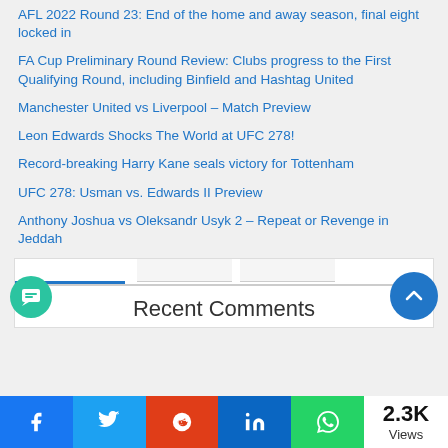AFL 2022 Round 23: End of the home and away season, final eight locked in
FA Cup Preliminary Round Review: Clubs progress to the First Qualifying Round, including Binfield and Hashtag United
Manchester United vs Liverpool – Match Preview
Leon Edwards Shocks The World at UFC 278!
Record-breaking Harry Kane seals victory for Tottenham
UFC 278: Usman vs. Edwards II Preview
Anthony Joshua vs Oleksandr Usyk 2 – Repeat or Revenge in Jeddah
Recent Comments
2.3K Views